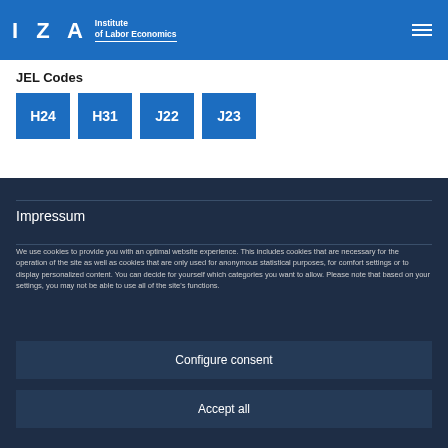[Figure (logo): IZA Institute of Labor Economics logo in white on blue header bar]
JEL Codes
H24 H31 J22 J23
Impressum
We use cookies to provide you with an optimal website experience. This includes cookies that are necessary for the operation of the site as well as cookies that are only used for anonymous statistical purposes, for comfort settings or to display personalized content. You can decide for yourself which categories you want to allow. Please note that based on your settings, you may not be able to use all of the site's functions.
Configure consent
Accept all